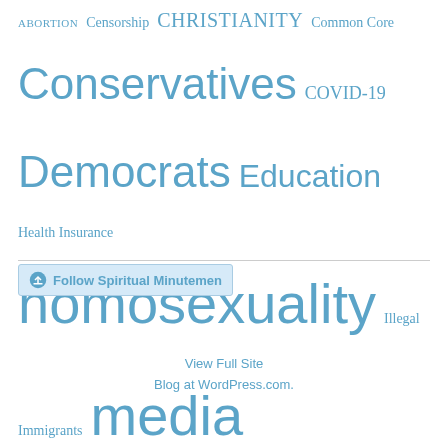[Figure (infographic): Tag cloud with words of varying sizes in blue: ABORTION, Censorship, Christianity, Common Core, Conservatives, COVID-19, Democrats, Education, Health Insurance, homosexuality, Illegal Immigrants, media, Militant Islam, patriotism, politics, Racism, Republican, Transgender]
Follow Spiritual Minutemen
View Full Site
Blog at WordPress.com.